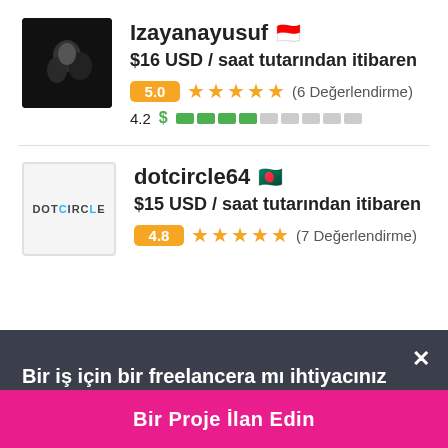[Figure (photo): Profile photo of Izayanayusuf — dark background with figure]
Izayanayusuf 🇮🇩
$16 USD / saat tutarından itibaren
5.0 ★★★★★ (6 Değerlendirme)
4.2 $ ████░░░░░░
[Figure (logo): DOTCIRCLE logo in grey box]
dotcircle64 🇧🇩
$15 USD / saat tutarından itibaren
4.8 ★★★★★ (7 Değerlendirme)
Bir iş için bir freelancera mı ihtiyacınız var?
Bir Proje İlan Edin